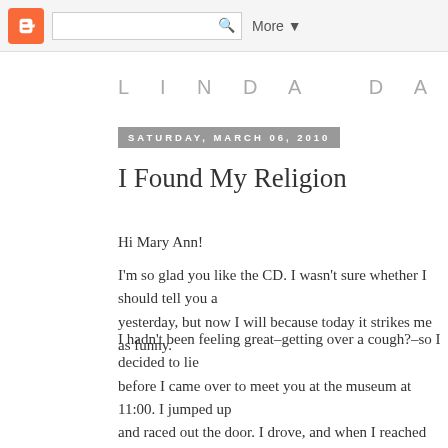LINDA DAVICK — Blogger navbar with search and More
LINDA DAVICK
SATURDAY, MARCH 06, 2010
I Found My Religion
Hi Mary Ann!
I'm so glad you like the CD. I wasn't sure whether I should tell you ab yesterday, but now I will because today it strikes me as funny.
I hadn't been feeling great–getting over a cough?–so I decided to lie before I came over to meet you at the museum at 11:00. I jumped up and raced out the door. I drove, and when I reached Clement and 43 a car going 15 mph. I thought, "Oh well, I'll be turning off at 34th Ave like eons until I got to 34th, and then the same poky car turned left o reduced speed to 5 mph. So I followed for another 5 minutes–as you walked to the museum by this time– and when we had almost reach parking place in the lot out front. Then, the car in front of me turned